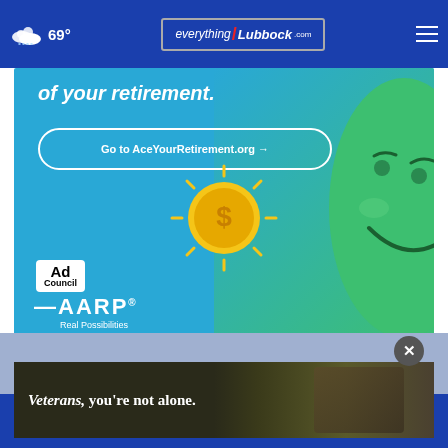69° | everythingLubbock.com
[Figure (infographic): AARP Ad Council advertisement for AceYourRetirement.org with text 'of your retirement.', a button 'Go to AceYourRetirement.org →', Ad Council logo, AARP Real Possibilities logo, a coin/sun illustration, and a green cartoon face character]
[Figure (infographic): THESHELTERPETPROJECT.ORG advertisement banner with ad council logos on the right]
[Figure (infographic): Veterans advertisement banner with text 'Veterans, you're not alone.' on dark background with person in background]